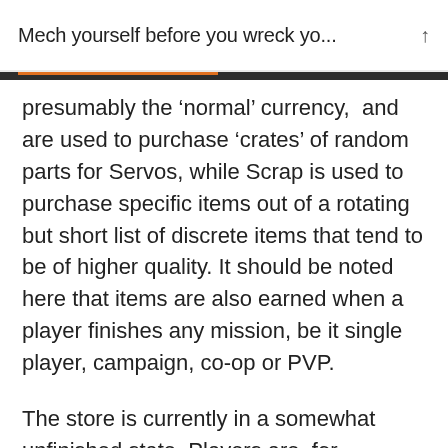Mech yourself before you wreck yo...
presumably the ‘normal’ currency,  and are used to purchase ‘crates’ of random parts for Servos, while Scrap is used to purchase specific items out of a rotating but short list of discrete items that tend to be of higher quality. It should be noted here that items are also earned when a player finishes any mission, be it single player, campaign, co-op or PVP.
The store is currently in a somewhat unfinished state. Players are, for instance, restricted to selling one part at a time, which can be time consuming even after limited acquisitions. There are no filtering features as yet in either the Store